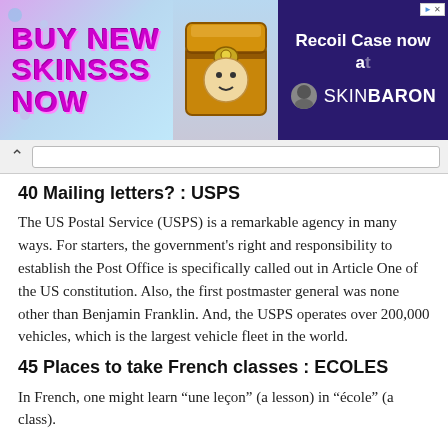[Figure (screenshot): Advertisement banner: 'BUY NEW SKINSSS NOW' with a golden chest graphic on the left, and 'Recoil Case now at SKINBARON' on a dark purple background on the right.]
^
40 Mailing letters? : USPS
The US Postal Service (USPS) is a remarkable agency in many ways. For starters, the government’s right and responsibility to establish the Post Office is specifically called out in Article One of the US constitution. Also, the first postmaster general was none other than Benjamin Franklin. And, the USPS operates over 200,000 vehicles, which is the largest vehicle fleet in the world.
45 Places to take French classes : ECOLES
In French, one might learn “une leçon” (a lesson) in “école” (a class).